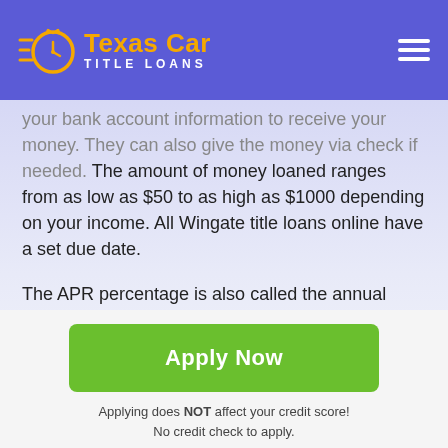Texas Car Title Loans
your bank account information to receive your money. They can also give the money via check if needed. The amount of money loaned ranges from as low as $50 to as high as $1000 depending on your income. All Wingate title loans online have a set due date.
The APR percentage is also called the annual percentage rate and is a part of every titleadvance. It is due in conjunction with the balance, though it can differ between lenders. Those with bad credit or low income can benefit from a title loan despite the APR percentage due to having
[Figure (other): Green Apply Now button]
Applying does NOT affect your credit score!
No credit check to apply.